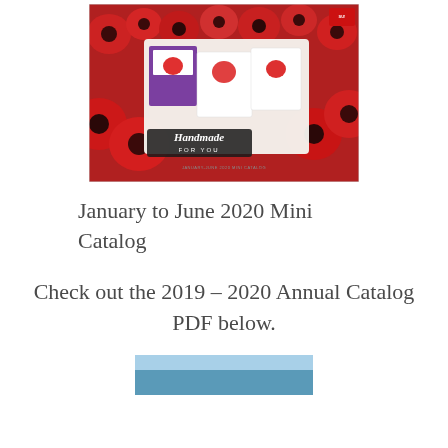[Figure (photo): Cover of the January to June 2020 Mini Catalog by Stampin' Up! showing handmade cards surrounded by red poppy flowers, with the text 'Handmade FOR YOU' and 'JANUARY-JUNE 2020 MINI CATALOG' visible.]
January to June 2020 Mini Catalog
Check out the 2019 – 2020 Annual Catalog PDF below.
[Figure (photo): Partial view of a second catalog image, cropped at the bottom of the page.]